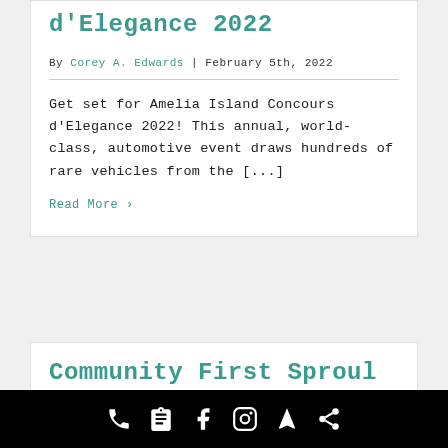d'Elegance 2022
By Corey A. Edwards | February 5th, 2022
Get set for Amelia Island Concours d'Elegance 2022! This annual, world-class, automotive event draws hundreds of rare vehicles from the [...]
Read More ›
Community First Sproul Mo...
Phone | Notes | Facebook | Instagram | Navigation | Share